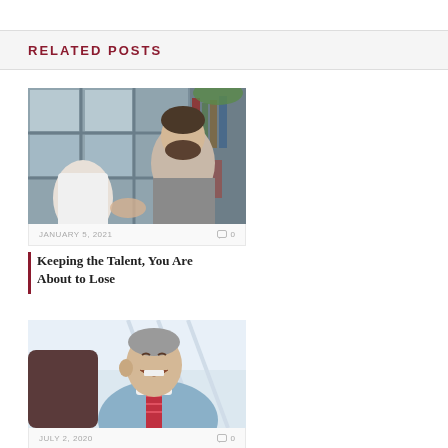RELATED POSTS
[Figure (photo): Two men shaking hands in an office setting with bookshelves in the background. One man is bearded wearing a grey shirt, the other in a white shirt.]
JANUARY 5, 2021   0
Keeping the Talent, You Are About to Lose
[Figure (photo): A man in a suit and tie laughing, photographed from a low angle against a bright background.]
JULY 2, 2020   0